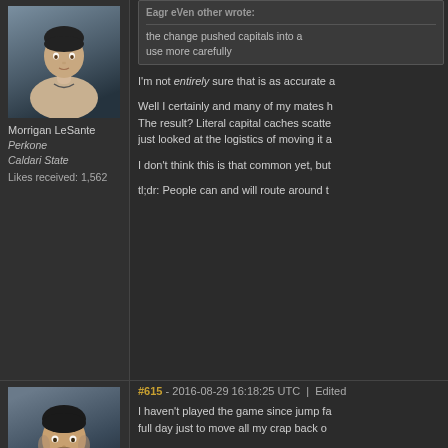[Figure (photo): Avatar of Morrigan LeSante — rendered female character in beige top, sci-fi game style]
Morrigan LeSante
Perkone
Caldari State
Likes received: 1,562
the change pushed capitals into a use more carefully
I'm not entirely sure that is as accurate a
Well I certainly and many of my mates h The result? Literal capital caches scatte just looked at the logistics of moving it a
I don't think this is that common yet, but
tl;dr: People can and will route around t
#615 - 2016-08-29 16:18:25 UTC | Edited
[Figure (photo): Avatar of male character — dark haired man in suit, sci-fi game style]
I haven't played the game since jump fa full day just to move all my crap back o
Jump fatigue took away a lot of fun from moving capitals is just painfull now, wh